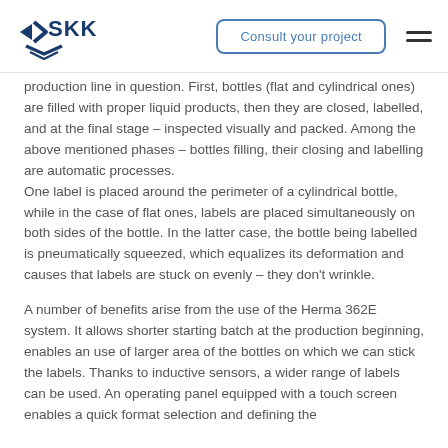SKK logo | Consult your project | Menu
production line in question. First, bottles (flat and cylindrical ones) are filled with proper liquid products, then they are closed, labelled, and at the final stage – inspected visually and packed. Among the above mentioned phases – bottles filling, their closing and labelling are automatic processes. One label is placed around the perimeter of a cylindrical bottle, while in the case of flat ones, labels are placed simultaneously on both sides of the bottle. In the latter case, the bottle being labelled is pneumatically squeezed, which equalizes its deformation and causes that labels are stuck on evenly – they don't wrinkle.
A number of benefits arise from the use of the Herma 362E system. It allows shorter starting batch at the production beginning, enables an use of larger area of the bottles on which we can stick the labels. Thanks to inductive sensors, a wider range of labels can be used. An operating panel equipped with a touch screen enables a quick format selection and defining the